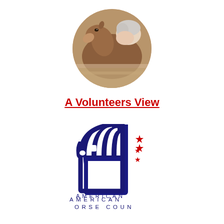[Figure (photo): Circular cropped photo of a brown foal nuzzling close to a person with white/grey hair, in an outdoor pen setting.]
A Volunteers View
[Figure (logo): American Horse Council logo: a stylized dark blue horse head with flowing mane formed by geometric shapes, with two red stars to the right. Below reads 'AMERICAN HORSE COUNCIL' in spaced dark blue letters.]